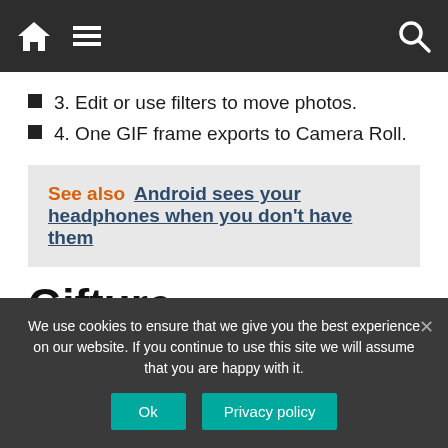Navigation bar with home, menu, and search icons
3. Edit or use filters to move photos.
4. One GIF frame exports to Camera Roll.
See also  Android sees your headphones when you don't have them
Gifture
Compared to other GIF, Gifture manufacturers, it is
We use cookies to ensure that we give you the best experience on our website. If you continue to use this site we will assume that you are happy with it.